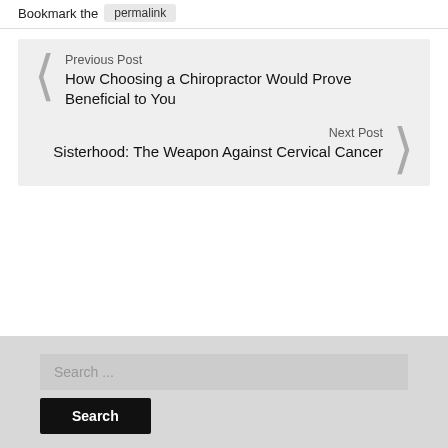Bookmark the permalink
Previous Post
How Choosing a Chiropractor Would Prove Beneficial to You
Next Post
Sisterhood: The Weapon Against Cervical Cancer
Search ...
Search